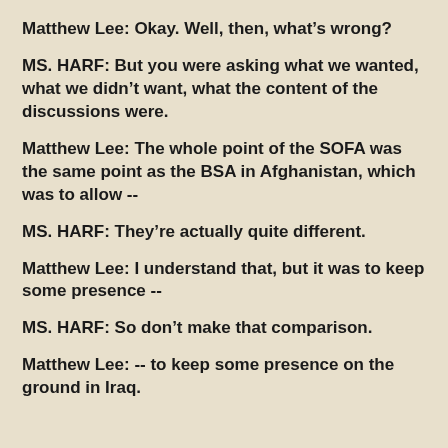Matthew Lee: Okay. Well, then, what’s wrong?
MS. HARF: But you were asking what we wanted, what we didn’t want, what the content of the discussions were.
Matthew Lee: The whole point of the SOFA was the same point as the BSA in Afghanistan, which was to allow --
MS. HARF: They’re actually quite different.
Matthew Lee: I understand that, but it was to keep some presence --
MS. HARF: So don’t make that comparison.
Matthew Lee: -- to keep some presence on the ground in Iraq.